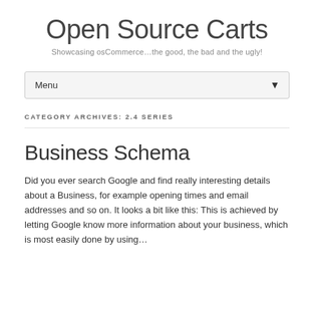Open Source Carts
Showcasing osCommerce…the good, the bad and the ugly!
Menu
CATEGORY ARCHIVES: 2.4 SERIES
Business Schema
Did you ever search Google and find really interesting details about a Business, for example opening times and email addresses and so on. It looks a bit like this: This is achieved by letting Google know more information about your business, which is most easily done by using…